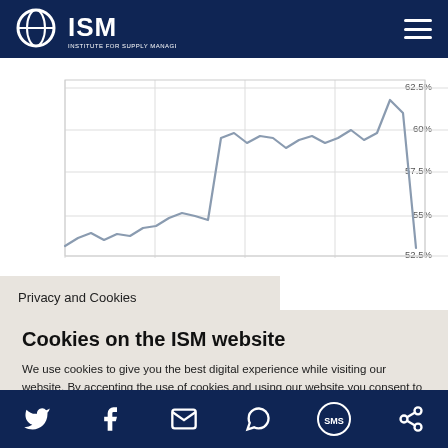ISM - Institute for Supply Management
[Figure (line-chart): Line chart showing ISM services index over time, ranging from approximately 52.5% to 62.5%]
Privacy and Cookies
Cookies on the ISM website
We use cookies to give you the best digital experience while visiting our website. By accepting the use of cookies and using our website you consent to all cookies in accordance with our Privacy Policy.
Privacy Policy   Contact Us
Social media icons: Twitter, Facebook, Email, WhatsApp, SMS, other